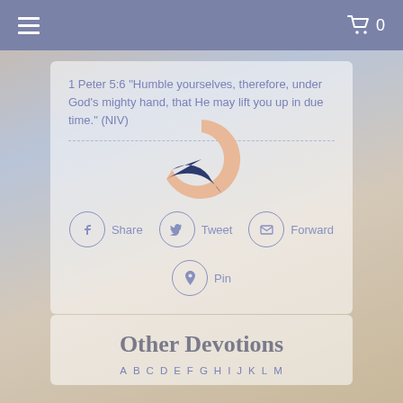≡  🛒 0
1 Peter 5:6 "Humble yourselves, therefore, under God's mighty hand, that He may lift you up in due time." (NIV)
[Figure (donut-chart): Partial donut chart with peach/salmon outer arc and dark navy blue filled segment at bottom right, indicating reading progress or completion status]
Share  Tweet  Forward
Pin
Other Devotions
A B C D E F G H I J K L M